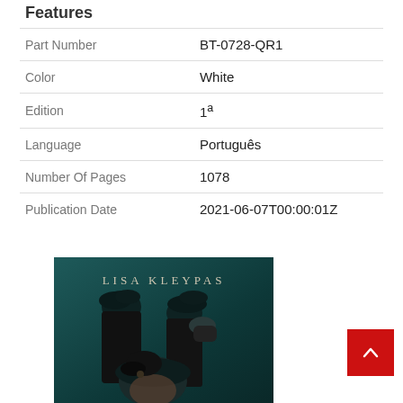Features
|  |  |
| --- | --- |
| Part Number | BT-0728-QR1 |
| Color | White |
| Edition | 1ª |
| Language | Português |
| Number Of Pages | 1078 |
| Publication Date | 2021-06-07T00:00:01Z |
[Figure (photo): Book cover of a Lisa Kleypas novel, showing a dark teal background with figures in dark Victorian clothing, author name 'LISA KLEYPAS' at top in serif lettering]